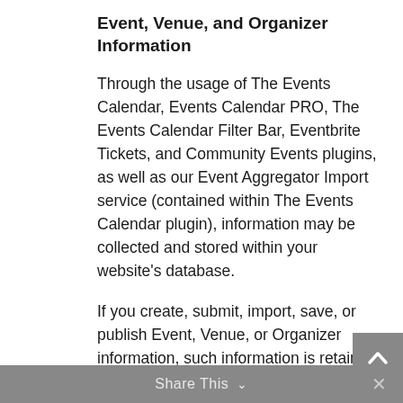Event, Venue, and Organizer Information
Through the usage of The Events Calendar, Events Calendar PRO, The Events Calendar Filter Bar, Eventbrite Tickets, and Community Events plugins, as well as our Event Aggregator Import service (contained within The Events Calendar plugin), information may be collected and stored within your website's database.
If you create, submit, import, save, or publish Event, Venue, or Organizer information, such information is retained in the local database:
1. Venue information: name, address, city, country, state, postal code, phone, website, geographical coordinates (latitude and longitude)
2. Organizer information: name, phone, website, email
3. Event information: website, cost, description,